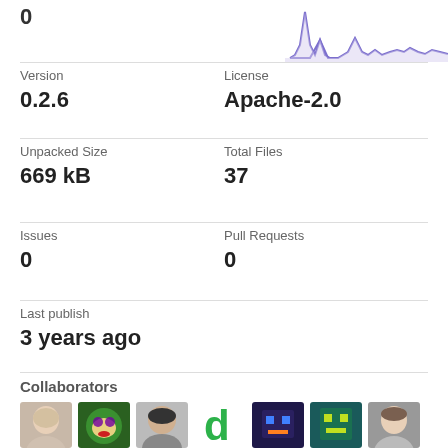[Figure (line-chart): A sparkline/area chart showing download activity over time, purple line with peaks, y-axis shows 0 at bottom left]
0
Version
0.2.6
License
Apache-2.0
Unpacked Size
669 kB
Total Files
37
Issues
0
Pull Requests
0
Last publish
3 years ago
Collaborators
[Figure (photo): Row of collaborator avatar icons/photos]